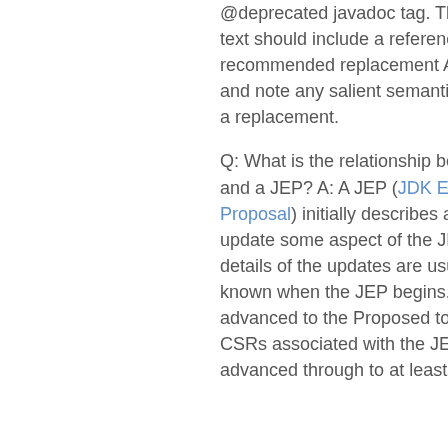@deprecated javadoc tag. The @deprecated text should include a reference to a recommended replacement API, if one exists, and note any salient semantic differences with a replacement.
Q: What is the relationship between a CSR and a JEP? A: A JEP (JDK Enhancement-Proposal) initially describes a project to update some aspect of the JDK. The exact details of the updates are usually not yet known when the JEP begins. Before a JEP is advanced to the Proposed to Target state, CSRs associated with the JEP should have advanced through to at least the CSR